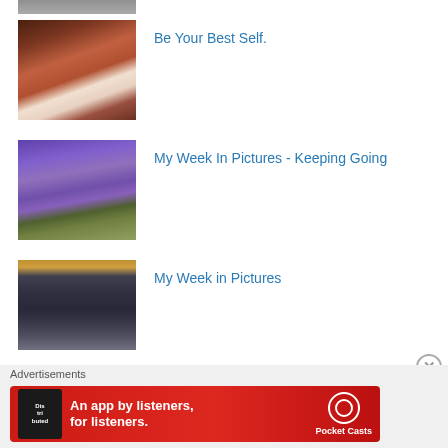[Figure (photo): Partial top of a photo, cropped at top of page]
[Figure (photo): Woman holding a baby, indoors]
Be Your Best Self.
[Figure (photo): Purple flowers (crocuses)]
My Week In Pictures - Keeping Going
[Figure (photo): Crowd of people in a dimly lit room]
My Week in Pictures
[Figure (photo): Beach with ocean waves and cloudy sky]
My Week in Pictures
Advertisements
[Figure (other): Pocket Casts advertisement banner: An app by listeners, for listeners.]